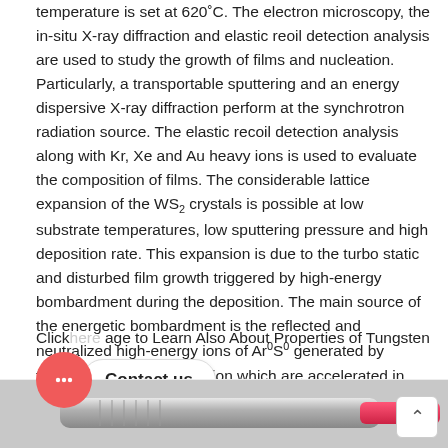temperature is set at 620°C. The electron microscopy, the in-situ X-ray diffraction and elastic reoil detection analysis are used to study the growth of films and nucleation. Particularly, a transportable sputtering and an energy dispersive X-ray diffraction perform at the synchrotron radiation source. The elastic recoil detection analysis along with Kr, Xe and Au heavy ions is used to evaluate the composition of films. The considerable lattice expansion of the WS2 crystals is possible at low substrate temperatures, low sputtering pressure and high deposition rate. This expansion is due to the turbo static and disturbed film growth triggered by high-energy bombardment during the deposition. The main source of the energetic bombardment is the reflected and neutralized high-energy ions of Ar0S0 generated by tungsten target and S− anion which are accelerated in the cathode 5.
Click here to Learn Also About Properties of Tungsten
[Figure (photo): Chat widget showing a red circular button with chat bubble dots and a 'Contact us' label on a white pill-shaped background]
[Figure (photo): Bottom strip showing a partial image of a metallic pen/tool with red and grey coloring]